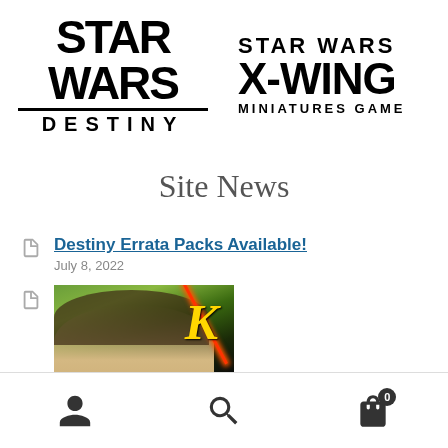[Figure (logo): Star Wars Destiny logo in bold black text with underline bar and 'DESTINY' lettering]
[Figure (logo): Star Wars X-Wing Miniatures Game logo in bold black text]
Site News
[Figure (illustration): Document/page icon in gray]
Destiny Errata Packs Available!
July 8, 2022
[Figure (illustration): Document/page icon in gray]
[Figure (photo): Photo of a woman with eyes closed in a natural green setting, with a yellow italic K letter and a red lightsaber overlay]
Navigation bar with user icon, search icon, and cart icon showing badge 0